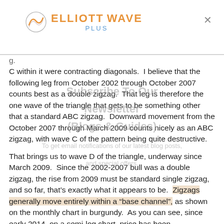ELLIOTT WAVE PLUS
C within it were contracting diagonals.  I believe that the following leg from October 2002 through October 2007 counts best as a double zigzag.  That leg is therefore the one wave of the triangle that gets to be something other that a standard ABC zigzag.  Downward movement from the October 2007 through March 2009 counts nicely as an ABC zigzag, with wave C of the pattern being quite destructive.
That brings us to wave D of the triangle, underway since March 2009.  Since the 2002-2007 bull was a double zigzag, the rise from 2009 must be standard single zigzag, and so far, that’s exactly what it appears to be.  Zigzags generally move entirely within a “base channel”, as shown on the monthly chart in burgundy.  As you can see, since early 2014, on a semi-log chart, price has been